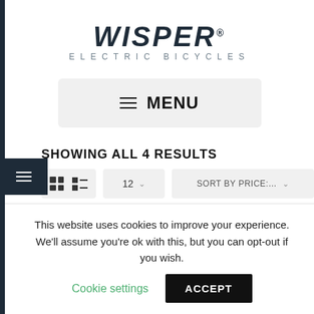[Figure (logo): Wisper Electric Bicycles logo — italic bold dark navy text 'WISPER®' with subtitle 'ELECTRIC BICYCLES' in spaced grey capitals]
≡  MENU
SHOWING ALL 4 RESULTS
12  ∨   SORT BY PRICE:...  ∨
This website uses cookies to improve your experience. We'll assume you're ok with this, but you can opt-out if you wish.
Cookie settings   ACCEPT